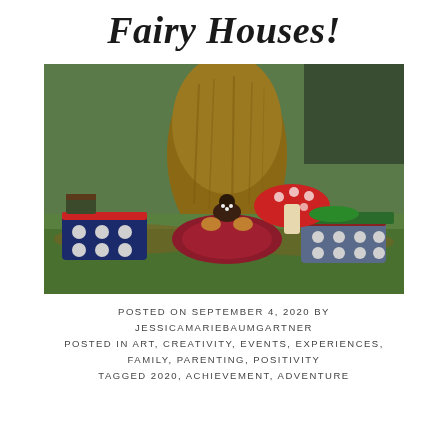Fairy Houses!
[Figure (photo): A fairy house scene at the base of a large tree trunk, with decorative miniature houses and mushrooms arranged on grass and leaf-covered ground. A small figurine sits on a colorful mat. Miniature blue houses with white dots flank the scene on each side, and a red-capped mushroom decoration appears on the right.]
POSTED ON SEPTEMBER 4, 2020 BY JESSICAMARIEBAUMGARTNER
POSTED IN ART, CREATIVITY, EVENTS, EXPERIENCES, FAMILY, PARENTING, POSITIVITY
TAGGED 2020, ACHIEVEMENT, ADVENTURE